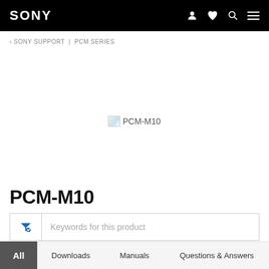SONY
‹ SONY SUPPORT | PCM SERIES
[Figure (screenshot): Broken image placeholder for PCM-M10 product photo]
PCM-M10
Keywords for this product
All  Downloads  Manuals  Questions & Answers